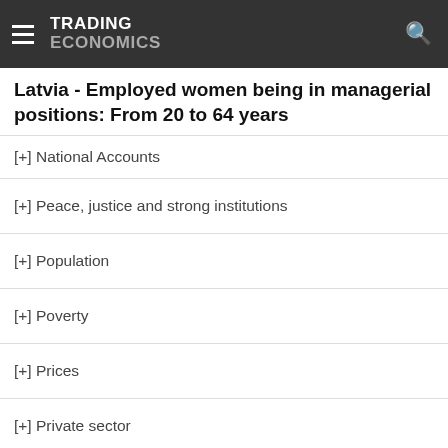TRADING ECONOMICS
Latvia - Employed women being in managerial positions: From 20 to 64 years
[+] National Accounts
[+] Peace, justice and strong institutions
[+] Population
[+] Poverty
[+] Prices
[+] Private sector
[+] Research and development
[+] Secondary raw materials
[+] Services Price Index